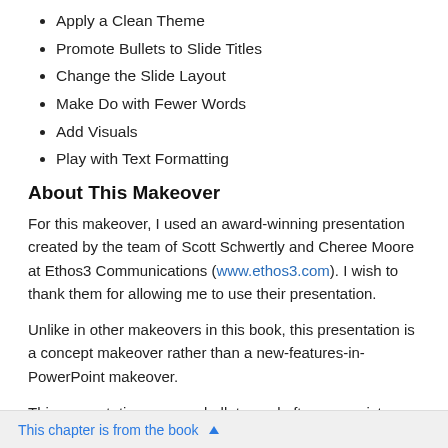Apply a Clean Theme
Promote Bullets to Slide Titles
Change the Slide Layout
Make Do with Fewer Words
Add Visuals
Play with Text Formatting
About This Makeover
For this makeover, I used an award-winning presentation created by the team of Scott Schwertly and Cheree Moore at Ethos3 Communications (www.ethos3.com). I wish to thank them for allowing me to use their presentation.
Unlike in other makeovers in this book, this presentation is a concept makeover rather than a new-features-in-PowerPoint makeover.
This presentation uses no bullets, and often uses pictures instead of words to create "concept slides." A picture of a cup of coffee represents coffee much better than just the word "coffee" because
This chapter is from the book